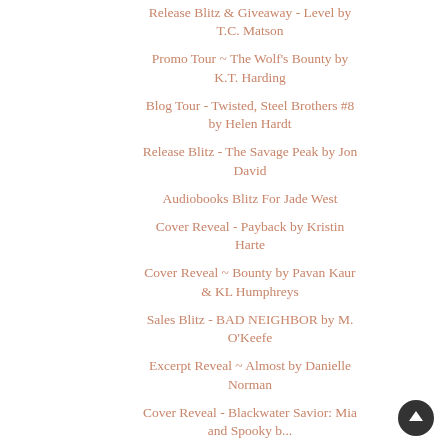Release Blitz & Giveaway - Level by T.C. Matson
Promo Tour ~ The Wolf's Bounty by K.T. Harding
Blog Tour - Twisted, Steel Brothers #8 by Helen Hardt
Release Blitz - The Savage Peak by Jon David
Audiobooks Blitz For Jade West
Cover Reveal - Payback by Kristin Harte
Cover Reveal ~ Bounty by Pavan Kaur & KL Humphreys
Sales Blitz - BAD NEIGHBOR by M. O'Keefe
Excerpt Reveal ~  Almost by Danielle Norman
Cover Reveal - Blackwater Savior: Mia and Spooky b...
Promo & Sales Blitz - Addicted to You b...